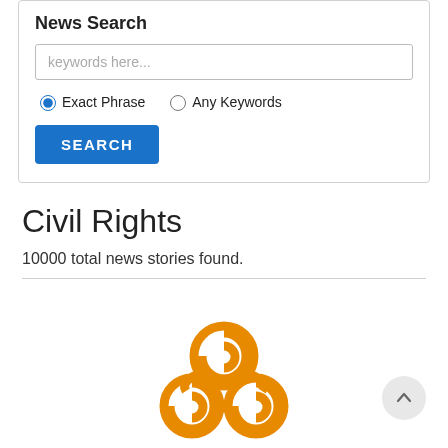News Search
[Figure (screenshot): Search input box with placeholder text 'keywords here...']
Exact Phrase   Any Keywords
SEARCH
Civil Rights
10000 total news stories found.
[Figure (logo): Orange decorative swirl/knot logo at bottom center of page]